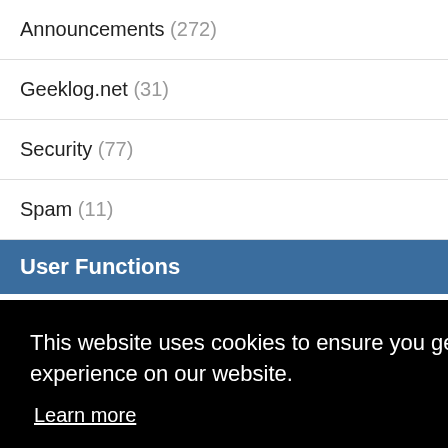Announcements (272)
Geeklog.net (31)
Security (77)
Spam (11)
User Functions
Want to login?
This website uses cookies to ensure you get the best experience on our website. Learn more
Got it!